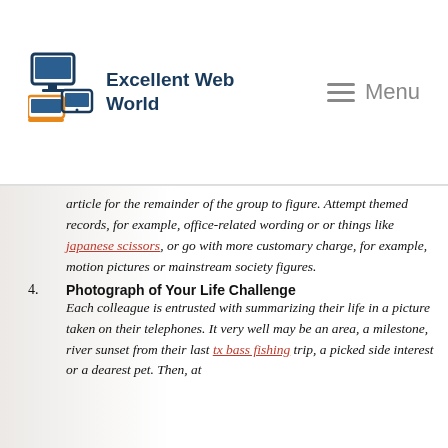Excellent Web World — Menu
article for the remainder of the group to figure. Attempt themed records, for example, office-related wording or or things like japanese scissors, or go with more customary charge, for example, motion pictures or mainstream society figures.
4. Photograph of Your Life Challenge
Each colleague is entrusted with summarizing their life in a picture taken on their telephones. It very well may be an area, a milestone, river sunset from their last tx bass fishing trip, a picked side interest or a dearest pet. Then, at